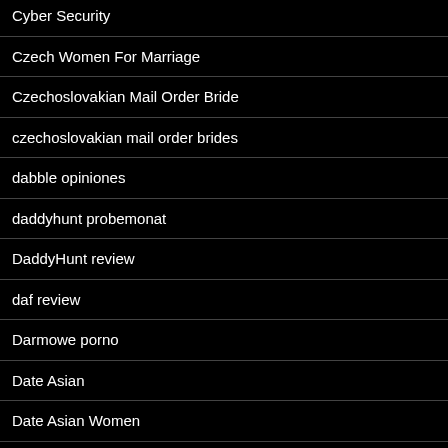Cyber Security
Czech Women For Marriage
Czechoslovakian Mail Order Bride
czechoslovakian mail order brides
dabble opiniones
daddyhunt probemonat
DaddyHunt review
daf review
Darmowe porno
Date Asian
Date Asian Women
Date Indian
Date Japanese Women